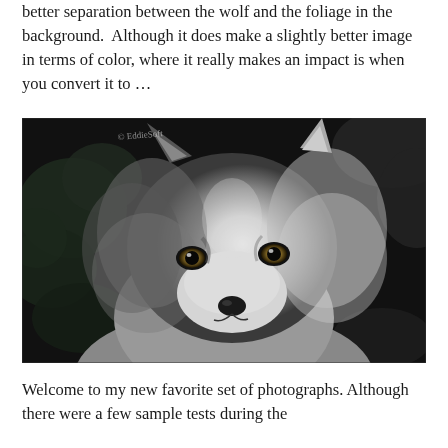better separation between the wolf and the foliage in the background. Although it does make a slightly better image in terms of color, where it really makes an impact is when you convert it to ...
[Figure (photo): Black and white close-up photograph of a wolf's face with foliage in the background. Watermark reads '© EddieSoft' in the upper left corner.]
Welcome to my new favorite set of photographs. Although there were a few sample tests during the